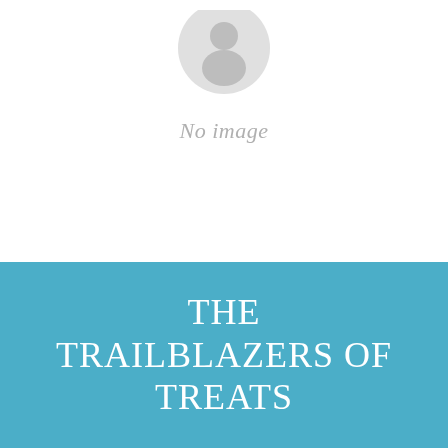[Figure (illustration): Placeholder image icon with a gray circular person/image icon and 'No image' text below it]
THE TRAILBLAZERS OF TREATS